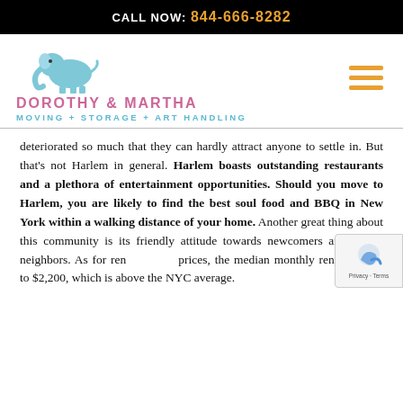CALL NOW: 844-666-8282
[Figure (logo): Dorothy & Martha Moving + Storage + Art Handling logo with blue elephant icon]
deteriorated so much that they can hardly attract anyone to settle in. But that’s not Harlem in general. Harlem boasts outstanding restaurants and a plethora of entertainment opportunities. Should you move to Harlem, you are likely to find the best soul food and BBQ in New York within a walking distance of your home. Another great thing about this community is its friendly attitude towards newcomers and fellow neighbors. As for rent prices, the median monthly rent amounts to $2,200, which is above the NYC average.